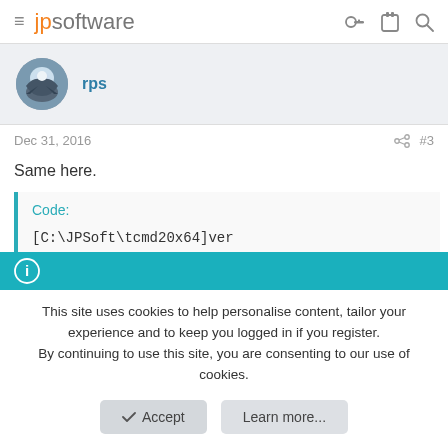jpsoftware
rps
Dec 31, 2016  #3
Same here.
Code:
[C:\JPSoft\tcmd20x64]ver
This site uses cookies to help personalise content, tailor your experience and to keep you logged in if you register.
By continuing to use this site, you are consenting to our use of cookies.